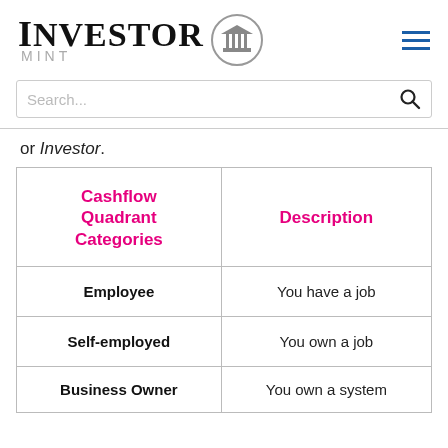[Figure (logo): Investor Mint logo with building icon in a circle]
[Figure (other): Hamburger menu icon (three horizontal blue lines)]
[Figure (other): Search bar with magnifying glass icon]
or Investor.
| Cashflow Quadrant Categories | Description |
| --- | --- |
| Employee | You have a job |
| Self-employed | You own a job |
| Business Owner | You own a system |